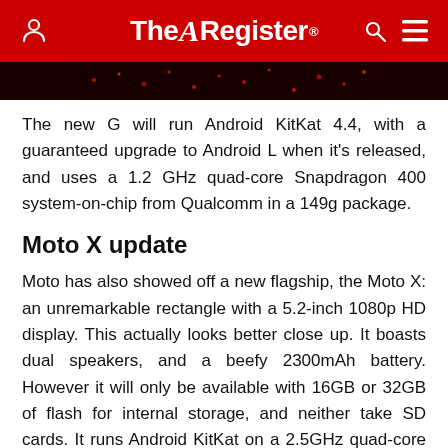The Register
[Figure (photo): Dark image strip at top of article, appears to be a dark reddish background with scattered red dots/lights]
The new G will run Android KitKat 4.4, with a guaranteed upgrade to Android L when it's released, and uses a 1.2 GHz quad-core Snapdragon 400 system-on-chip from Qualcomm in a 149g package.
Moto X update
Moto has also showed off a new flagship, the Moto X: an unremarkable rectangle with a 5.2-inch 1080p HD display. This actually looks better close up. It boasts dual speakers, and a beefy 2300mAh battery. However it will only be available with 16GB or 32GB of flash for internal storage, and neither take SD cards. It runs Android KitKat on a 2.5GHz quad-core Snapdragon 801,